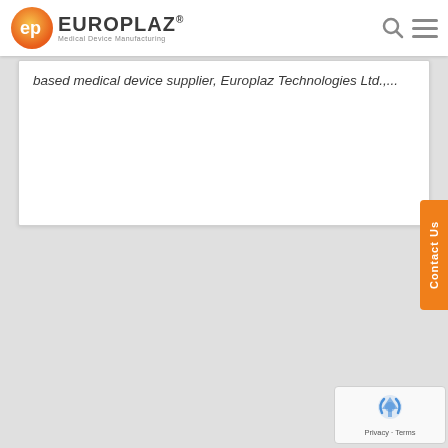EUROPLAZ Medical Device Manufacturing
based medical device supplier, Europlaz Technologies Ltd.,...
[Figure (other): Contact Us vertical orange tab button on right side of page]
[Figure (other): Google reCAPTCHA widget showing privacy and terms links]